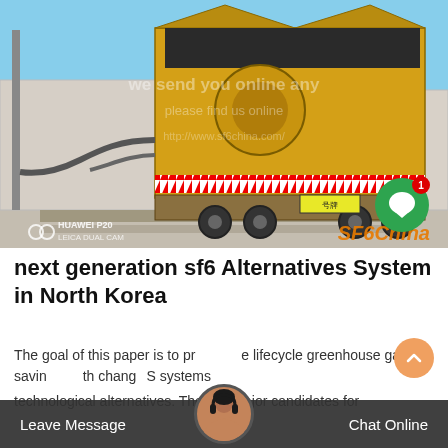[Figure (photo): Photo of a large yellow industrial truck/vehicle with open cargo doors, parked at an outdoor industrial site. Sky is blue in the background. Huawei P20 Leica Dual camera watermark at bottom-left, SF6China watermark at bottom-right. Green chat notification bubble overlay with badge showing '1'.]
next generation sf6 Alternatives System in North Korea
The goal of this paper is to provide lifecycle greenhouse gas savings with changing systems for technological alternatives. The two major candidates for